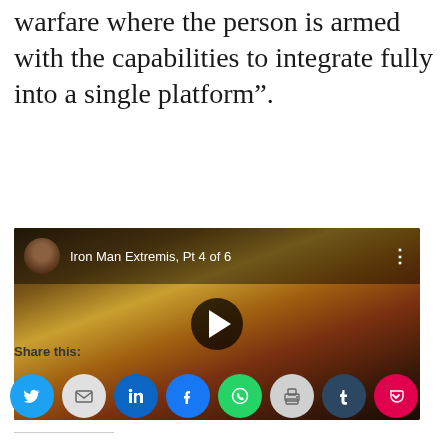human-centric approach to warfare where the person is armed with the capabilities to integrate fully into a single platform”.
[Figure (screenshot): YouTube video thumbnail showing Iron Man Extremis comic art with play button overlay. Title reads 'Iron Man Extremis, Pt 4 of 6'. A person's avatar/profile picture is visible in the top left corner.]
Share this:
[Figure (other): Row of social sharing icon buttons: Twitter (blue), Email (gray), LinkedIn (blue), Facebook (blue), WhatsApp (green), Print (gray), Tumblr (dark blue), Pocket (red/pink)]